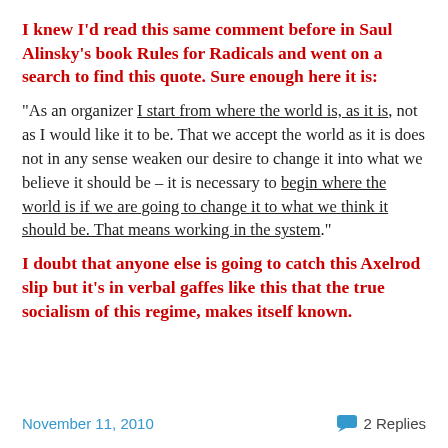I knew I’d read this same comment before in Saul Alinsky’s book Rules for Radicals and went on a search to find this quote. Sure enough here it is:
“As an organizer I start from where the world is, as it is, not as I would like it to be. That we accept the world as it is does not in any sense weaken our desire to change it into what we believe it should be – it is necessary to begin where the world is if we are going to change it to what we think it should be. That means working in the system.”
I doubt that anyone else is going to catch this Axelrod slip but it’s in verbal gaffes like this that the true socialism of this regime, makes itself known.
November 11, 2010   2 Replies